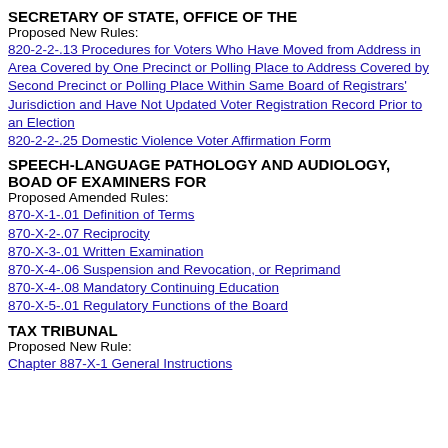SECRETARY OF STATE, OFFICE OF THE
Proposed New Rules:
820-2-2-.13 Procedures for Voters Who Have Moved from Address in Area Covered by One Precinct or Polling Place to Address Covered by Second Precinct or Polling Place Within Same Board of Registrars' Jurisdiction and Have Not Updated Voter Registration Record Prior to an Election
820-2-2-.25 Domestic Violence Voter Affirmation Form
SPEECH-LANGUAGE PATHOLOGY AND AUDIOLOGY, BOAD OF EXAMINERS FOR
Proposed Amended Rules:
870-X-1-.01 Definition of Terms
870-X-2-.07 Reciprocity
870-X-3-.01 Written Examination
870-X-4-.06 Suspension and Revocation, or Reprimand
870-X-4-.08 Mandatory Continuing Education
870-X-5-.01 Regulatory Functions of the Board
TAX TRIBUNAL
Proposed New Rule:
Chapter 887-X-1 General Instructions